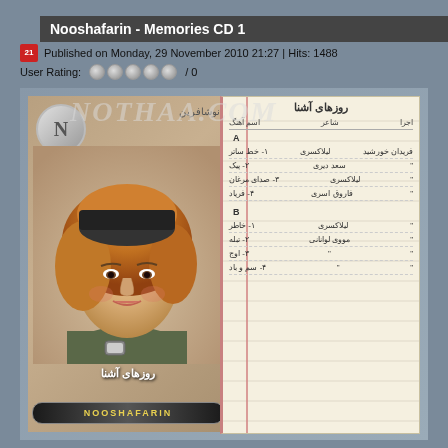Nooshafarin - Memories CD 1
Published on Monday, 29 November 2010 21:27 | Hits: 1488
User Rating: / 0
[Figure (photo): Album cover image for Nooshafarin - Memories CD 1 (Rozhaye Ashna), showing the artist photo on left and Persian tracklist on right, with NOTHAA.COM watermark overlaid]
Nooshafarin - Memories CD 1 album cover with tracklist